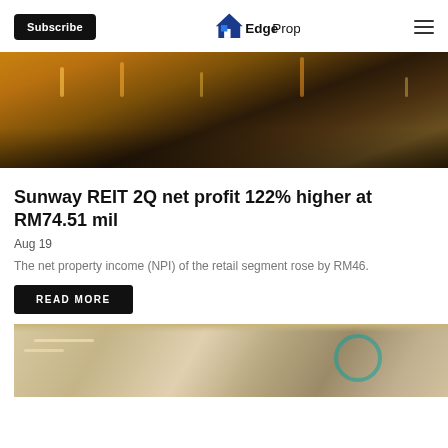Subscribe | EdgeProp
[Figure (photo): Night-time outdoor retail or entertainment venue with warm golden lighting, trees and architectural details visible]
Sunway REIT 2Q net profit 122% higher at RM74.51 mil
Aug 19
The net property income (NPI) of the retail segment rose by RM46.
READ MORE
[Figure (photo): Interior of a modern hotel or upscale residential lobby with cream tones, ceiling lighting strips and a decorative circular window]